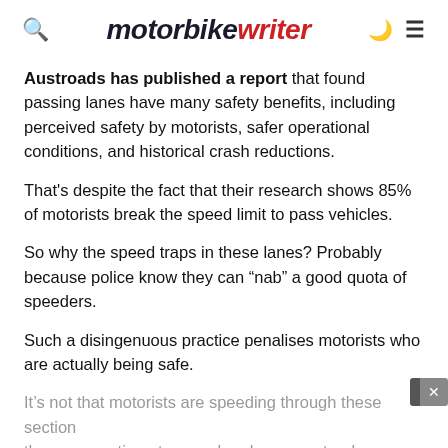motorbike writer
Austroads has published a report that found passing lanes have many safety benefits, including perceived safety by motorists, safer operational conditions, and historical crash reductions.
That's despite the fact that their research shows 85% of motorists break the speed limit to pass vehicles.
So why the speed traps in these lanes? Probably because police know they can “nab” a good quota of speeders.
Such a disingenuous practice penalises motorists who are actually being safe.
It’s not that motorists are speeding through these sections they can continue to speed and represent a danger on the